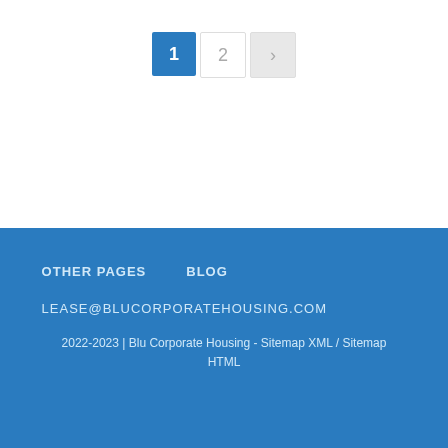[Figure (other): Pagination control with three buttons: active page '1' (blue background), page '2' (inactive), and a right arrow '>' next button (grey)]
OTHER PAGES   BLOG
LEASE@BLUCORPORATEHOUSING.COM
2022-2023 | Blu Corporate Housing - Sitemap XML / Sitemap HTML